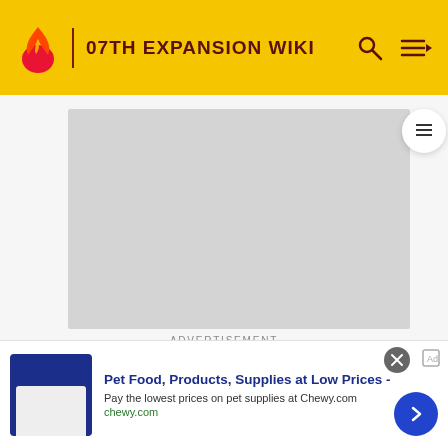07TH EXPANSION WIKI
[Figure (other): Gray advertisement placeholder box]
ADVERTISEMENT
Soundtrack
[Figure (other): Bottom banner advertisement for Chewy.com: Pet Food, Products, Supplies at Low Prices - Pay the lowest prices on pet supplies at Chewy.com]